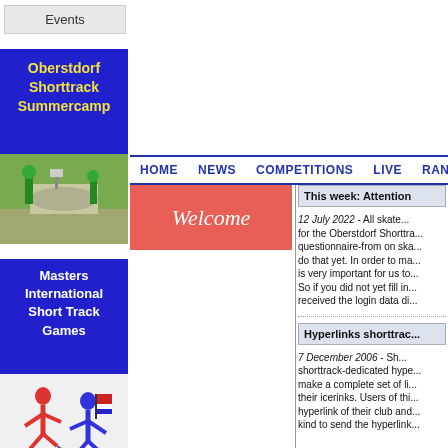Events
[Figure (illustration): Oberstdorf Shorttrack Summercamp banner - blue background with yellow bold text and outdoor photo of path/road]
HOME  NEWS  COMPETITIONS  LIVE  RANKI...
Welcome
This week: Attention
12 July 2022  -  All skate... for the Oberstdorf Shorttra... questionnaire-from on ska... do that yet. In order to ma... is very important for us to... So if you did not yet fill in... received the login data di...
Hyperlinks shorttrac...
7 December 2006  -  Sh... shorttrack-dedicated hype... make a complete set of li... their icerinks. Users of thi... hyperlink of their club and... kind to send the hyperlink...
[Figure (illustration): Masters International Short Track Games banner - blue background with white text and skater figures illustration]